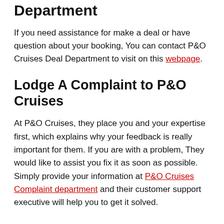Department
If you need assistance for make a deal or have question about your booking, You can contact P&O Cruises Deal Department to visit on this webpage.
Lodge A Complaint to P&O Cruises
At P&O Cruises, they place you and your expertise first, which explains why your feedback is really important for them. If you are with a problem, They would like to assist you fix it as soon as possible. Simply provide your information at P&O Cruises Complaint department and their customer support executive will help you to get it solved.